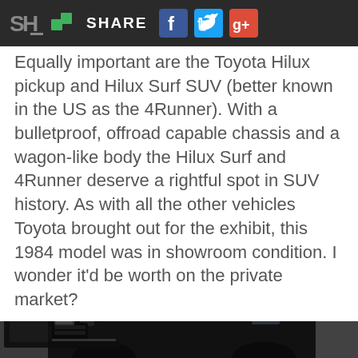SH SHARE [Facebook] [Twitter] [Google+]
Equally important are the Toyota Hilux pickup and Hilux Surf SUV (better known in the US as the 4Runner). With a bulletproof, offroad capable chassis and a wagon-like body the Hilux Surf and 4Runner deserve a rightful spot in SUV history. As with all the other vehicles Toyota brought out for the exhibit, this 1984 model was in showroom condition. I wonder it'd be worth on the private market?
[Figure (photo): Black Toyota Hilux Surf/4Runner SUV photographed inside a showroom or exhibit hall, shot from front-left angle, showing a shiny black exterior and building interior in background.]